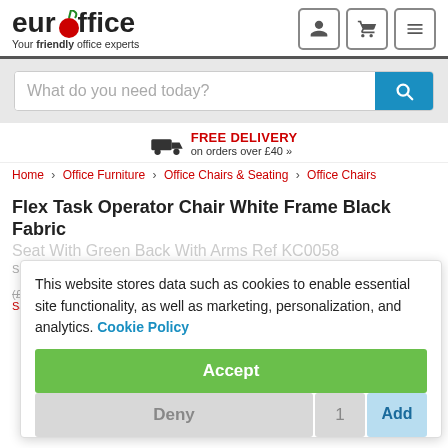[Figure (logo): Euroffice logo with red cherry replacing 'o', tagline: Your friendly office experts]
What do you need today?
FREE DELIVERY on orders over £40 »
Home > Office Furniture > Office Chairs & Seating > Office Chairs
Flex Task Operator Chair White Frame Black Fabric Seat With Green Back With Arms Ref KC0058
This website stores data such as cookies to enable essential site functionality, as well as marketing, personalization, and analytics. Cookie Policy
Accept
(£291.04 Incl VAT) Save 34% off RRP
£242.53
Deny
1
Add